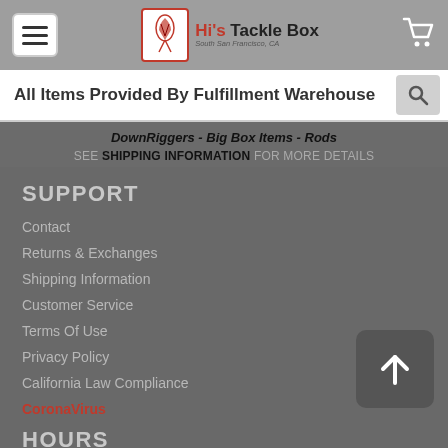[Figure (screenshot): Hi's Tackle Box website header with hamburger menu, logo, and cart icon on grey background]
All Items Provided By Fulfillment Warehouse
DownRiggers - Big Box Items - Rods
SEE SHIPPING INFORMATION FOR MORE DETAILS
SUPPORT
Contact
Returns & Exchanges
Shipping Information
Customer Service
Terms Of Use
Privacy Policy
California Law Compliance
CoronaVirus
HOURS
Sunday    Closed